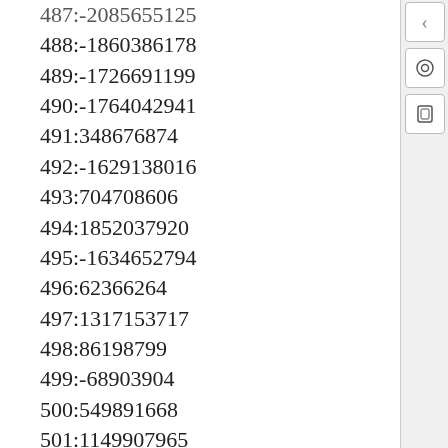487:-2085655125
488:-1860386178
489:-1726691199
490:-1764042941
491:348676874
492:-1629138016
493:704708606
494:1852037920
495:-1634652794
496:62366264
497:1317153717
498:86198799
499:-68903904
500:549891668
501:1149907965
502:-302707288
503:2112140878
504:-417747608
505:279787523
506:1555050000